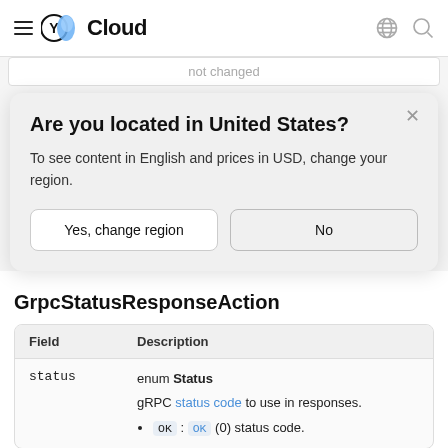≡ (Y) Cloud
not changed
Are you located in United States?
To see content in English and prices in USD, change your region.
Yes, change region
No
GrpcStatusResponseAction
| Field | Description |
| --- | --- |
| status | enum Status
gRPC status code to use in responses.
• OK : OK (0) status code. |